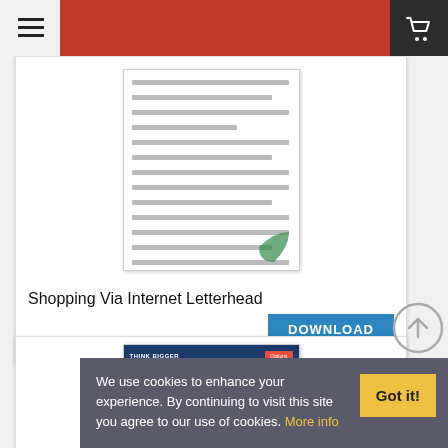[Figure (screenshot): Website header with hamburger menu icon on left, red/orange center bar, dark right section with shopping cart icon]
[Figure (screenshot): Document thumbnail for Shopping Via Internet Letterhead showing a text document with a page curl]
Shopping Via Internet Letterhead
DOWNLOAD
[Figure (screenshot): Document thumbnail for a template with blue header reading THINK BIGGER and MOVE FAST AND BREAK THINGS]
Purcha...
We use cookies to enhance your experience. By continuing to visit this site you agree to our use of cookies. More info
Got it!